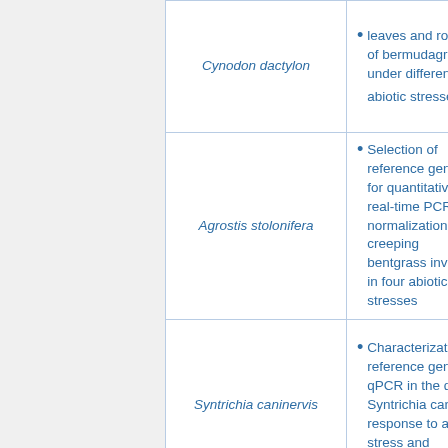| Species | Description |
| --- | --- |
| Cynodon dactylon | leaves and roots of bermudagrass under different abiotic stresses [ext] |
| Agrostis stolonifera | Selection of reference genes for quantitative real-time PCR normalization in creeping bentgrass involved in four abiotic stresses |
| Syntrichia caninervis | Characterization of reference genes for qPCR in the desert Syntrichia caninervis in response to abiotic stress and desiccation/rehydration |
| (continues) | Selection of appropriate reference genes for... |